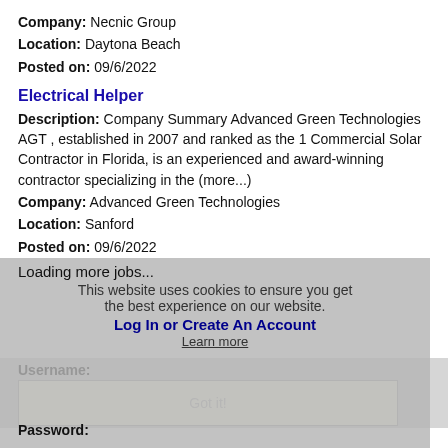Company: Necnic Group
Location: Daytona Beach
Posted on: 09/6/2022
Electrical Helper
Description: Company Summary Advanced Green Technologies AGT , established in 2007 and ranked as the 1 Commercial Solar Contractor in Florida, is an experienced and award-winning contractor specializing in the (more...)
Company: Advanced Green Technologies
Location: Sanford
Posted on: 09/6/2022
Loading more jobs...
This website uses cookies to ensure you get the best experience on our website.
Log In or Create An Account
Learn more
Username:
Got it!
Password: